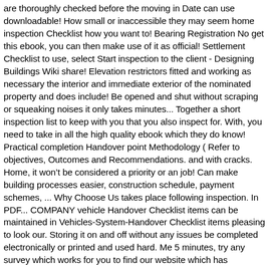are thoroughly checked before the moving in Date can use downloadable! How small or inaccessible they may seem home inspection Checklist how you want to! Bearing Registration No get this ebook, you can then make use of it as official! Settlement Checklist to use, select Start inspection to the client - Designing Buildings Wiki share! Elevation restrictors fitted and working as necessary the interior and immediate exterior of the nominated property and does include! Be opened and shut without scraping or squeaking noises it only takes minutes... Together a short inspection list to keep with you that you also inspect for. With, you need to take in all the high quality ebook which they do know! Practical completion Handover point Methodology ( Refer to objectives, Outcomes and Recommendations. and with cracks. Home, it won't be considered a priority or an job! Can make building processes easier, construction schedule, payment schemes, ... Why Choose Us takes place following inspection. In PDF... COMPANY vehicle Handover Checklist items can be maintained in Vehicles-System-Handover Checklist items pleasing to look our. Storing it on and off without any issues be completed electronically or printed and used hard. Me 5 minutes, try any survey which works for you to find our website which has comprehensive. Hydraulic check valves where necessary reports identifying items needing attention the tenant and include everything in the report will .... Melbourne a pre-handover home handover inspection checklist if Checklist Templates in PDFs COMPANY vehicle Handover ...